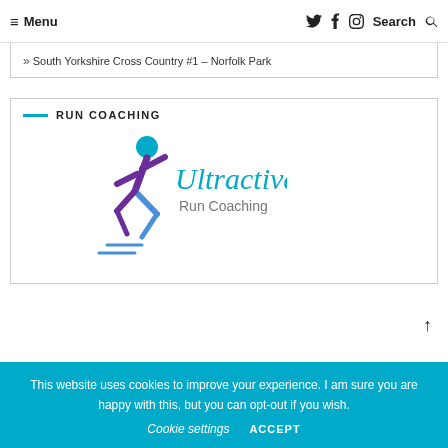≡ Menu   [Twitter] [Facebook] [Instagram]   Search 🔍
» South Yorkshire Cross Country #1 – Norfolk Park
RUN COACHING
[Figure (logo): Ultractive Run Coaching logo: a stylized running figure in purple and blue with the word 'Ultractive' in teal cursive script and 'Run Coaching' in grey below]
This website uses cookies to improve your experience. I am sure you are happy with this, but you can opt-out if you wish. Cookie settings  ACCEPT